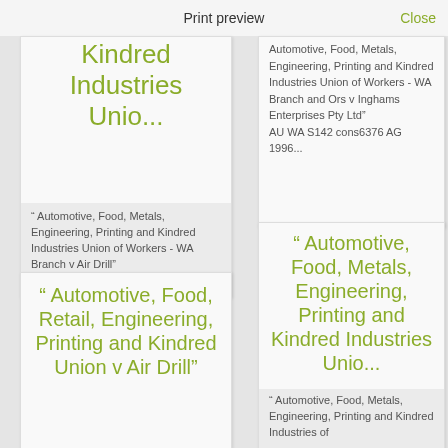Print preview   Close
Kindred Industries Unio...
" Automotive, Food, Metals, Engineering, Printing and Kindred Industries Union of Workers - WA Branch v Air Drill"
AU WA S142 cons6376 AG 1996...
Automotive, Food, Metals, Engineering, Printing and Kindred Industries Union of Workers - WA Branch and Ors v Inghams Enterprises Pty Ltd"
AU WA S142 cons6376 AG 1996...
" Automotive, Food, Retail, Engineering, Printing and Kindred Union v Air Drill"
" Automotive, Food, Metals, Engineering, Printing and Kindred Industries Unio...
" Automotive, Food, Metals, Engineering, Printing and Kindred Industries of